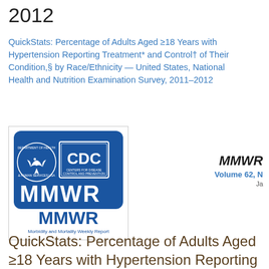2012
QuickStats: Percentage of Adults Aged ≥18 Years with Hypertension Reporting Treatment* and Control† of Their Condition,§ by Race/Ethnicity — United States, National Health and Nutrition Examination Survey, 2011–2012
[Figure (logo): MMWR Morbidity and Mortality Weekly Report cover with CDC/HHS logo on blue background, and MMWR text below]
MMWR
Volume 62, N
Ja
QuickStats: Percentage of Adults Aged ≥18 Years with Hypertension Reporting Treatment* and Control† of Their Condition,§